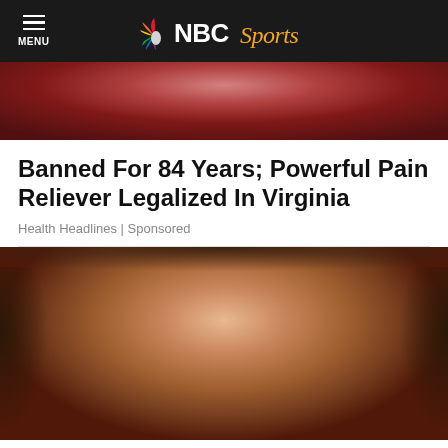MENU | NBC Sports
[Figure (photo): Cropped photo showing a glittery red/pink outfit or accessory]
Banned For 84 Years; Powerful Pain Reliever Legalized In Virginia
Health Headlines | Sponsored
[Figure (photo): Close-up face of a smiling middle-aged man with mullet hair style and an earring]
Dental Implants Are Now almost Free With